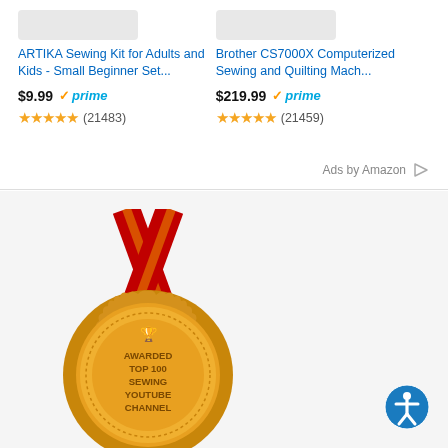[Figure (screenshot): Amazon product listing: ARTIKA Sewing Kit for Adults and Kids - Small Beginner Set... $9.99 with Prime badge, 4.5 stars (21483 ratings)]
[Figure (screenshot): Amazon product listing: Brother CS7000X Computerized Sewing and Quilting Mach... $219.99 with Prime badge, 4.5 stars (21459 ratings)]
Ads by Amazon
[Figure (illustration): Gold medal award on red ribbon with text: AWARDED TOP 100 SEWING YOUTUBE CHANNEL, with trophy icon at top]
[Figure (other): Accessibility icon button - blue circle with white person figure with arms extended]